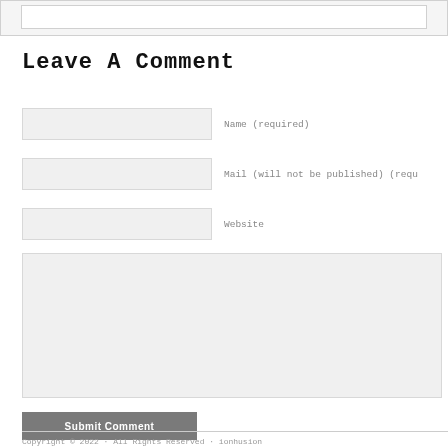[Figure (screenshot): Top portion of a web comment form showing a partially visible input box at the top of the page]
Leave A Comment
Name (required)
Mail (will not be published) (requ...
Website
Submit Comment
Copyright © 2022 · All Rights Reserved · ionhusion